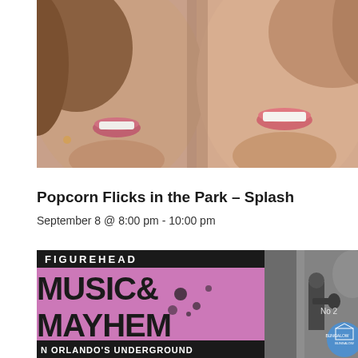[Figure (photo): Close-up photo of two people smiling, faces close together, showing lower halves of faces with smiles]
Popcorn Flicks in the Park – Splash
September 8 @ 8:00 pm - 10:00 pm
[Figure (photo): Figurehead Music & Mayhem event poster on pink/purple background with bold black text, and a black-and-white photo of a performer on stage with a Bungalow venue logo]